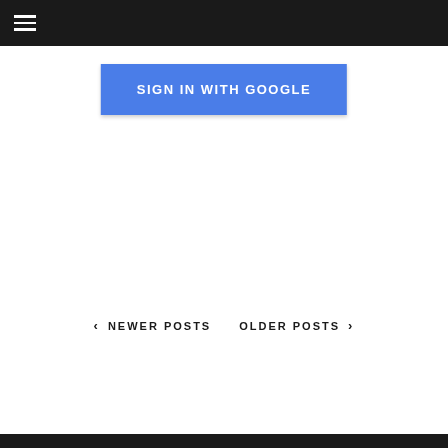SIGN IN WITH GOOGLE
‹ NEWER POSTS   OLDER POSTS ›